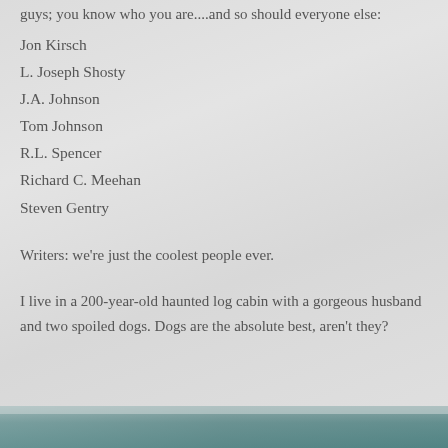guys; you know who you are....and so should everyone else:
Jon Kirsch
L. Joseph Shosty
J.A. Johnson
Tom Johnson
R.L. Spencer
Richard C. Meehan
Steven Gentry
Writers: we're just the coolest people ever.
I live in a 200-year-old haunted log cabin with a gorgeous husband and two spoiled dogs. Dogs are the absolute best, aren't they?
[Figure (photo): Bottom portion of a photo showing a teal/grey landscape or water scene, partially visible at the bottom of the page.]